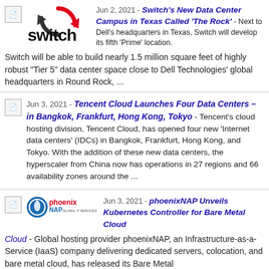Jun 2, 2021 - Switch's New Data Center Campus in Texas Called 'The Rock' - Next to Dell's headquarters in Texas, Switch will develop its fifth 'Prime' location. Switch will be able to build nearly 1.5 million square feet of highly robust "Tier 5" data center space close to Dell Technologies' global headquarters in Round Rock, ...
Jun 3, 2021 - Tencent Cloud Launches Four Data Centers – in Bangkok, Frankfurt, Hong Kong, Tokyo - Tencent's cloud hosting division, Tencent Cloud, has opened four new 'Internet data centers' (IDCs) in Bangkok, Frankfurt, Hong Kong, and Tokyo. With the addition of these new data centers, the hyperscaler from China now has operations in 27 regions and 66 availability zones around the ...
Jun 3, 2021 - phoenixNAP Unveils Kubernetes Controller for Bare Metal Cloud - Global hosting provider phoenixNAP, an Infrastructure-as-a-Service (IaaS) company delivering dedicated servers, colocation, and bare metal cloud, has released its Bare Metal